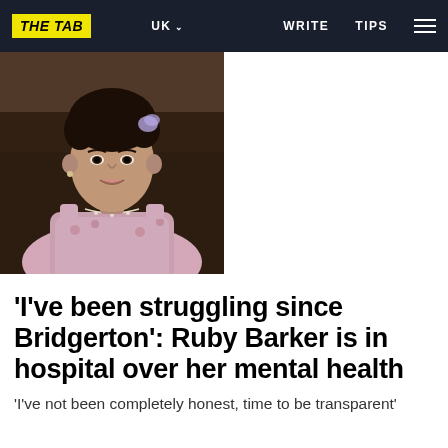THE TAB | UK | WRITE | TIPS
[Figure (photo): Split image: left side shows Ruby Barker in period costume from Bridgerton (floral dress, pearl necklace, hair up), right side shows Ruby Barker in a casual video, wearing a black top with yellow heart logo, curly hair down]
'I've been struggling since Bridgerton': Ruby Barker is in hospital over her mental health
'I've not been completely honest, time to be transparent'